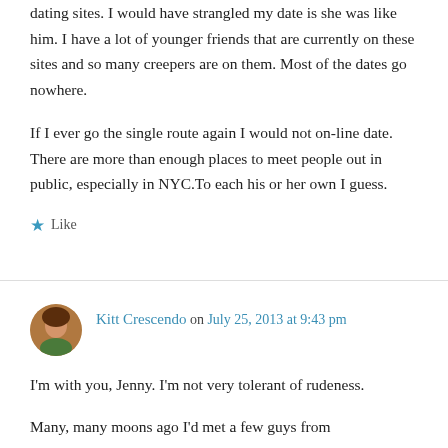dating sites. I would have strangled my date is she was like him. I have a lot of younger friends that are currently on these sites and so many creepers are on them. Most of the dates go nowhere.
If I ever go the single route again I would not on-line date. There are more than enough places to meet people out in public, especially in NYC. To each his or her own I guess.
★ Like
Kitt Crescendo on July 25, 2013 at 9:43 pm
I'm with you, Jenny. I'm not very tolerant of rudeness.
Many, many moons ago I'd met a few guys from